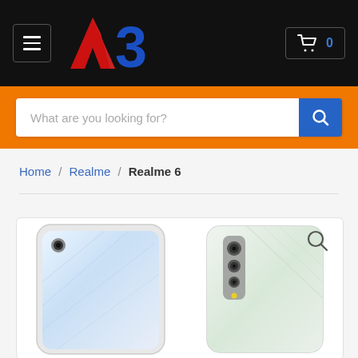AB logo header with hamburger menu and cart (0 items)
What are you looking for?
Home / Realme / Realme 6
[Figure (screenshot): Realme 6 smartphone shown from front and back. Front view shows the display with punch-hole camera. Back view shows the camera module arrangement.]